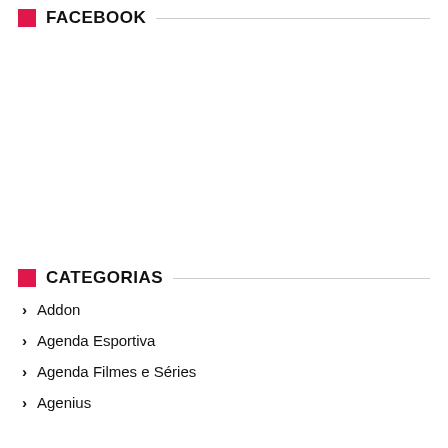FACEBOOK
CATEGORIAS
Addon
Agenda Esportiva
Agenda Filmes e Séries
Agenius